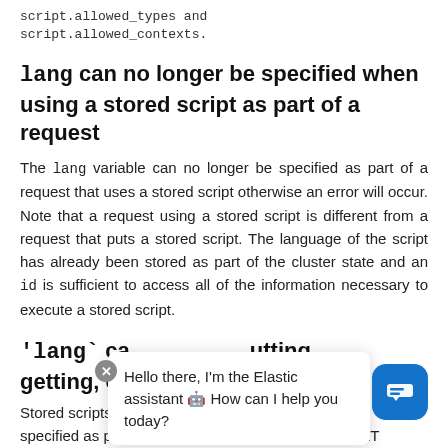script.allowed_types and
script.allowed_contexts.
lang can no longer be specified when using a stored script as part of a request
The lang variable can no longer be specified as part of a request that uses a stored script otherwise an error will occur. Note that a request using a stored script is different from a request that puts a stored script. The language of the script has already been stored as part of the cluster state and an id is sufficient to access all of the information necessary to execute a stored script.
'lang` ca... utting, getting, or
Stored scripts ... ra specified as part of the url when performing PUT, GET